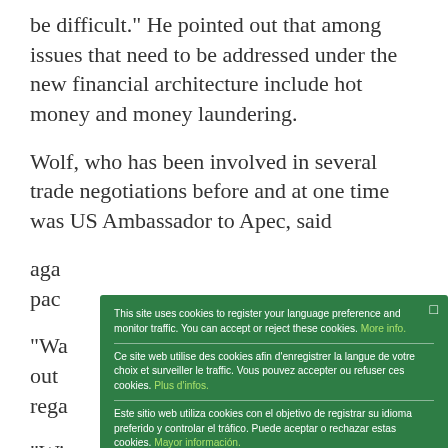be difficult." He pointed out that among issues that need to be addressed under the new financial architecture include hot money and money laundering.
Wolf, who has been involved in several trade negotiations before and at one time was US Ambassador to Apec, said aga... pac...
"Wa... out... rega...
"Wit... new... cou... turb...
The... mortgage crisis, severely affected the broader American
[Figure (screenshot): Cookie consent overlay dialog in green background with three language sections (English, French, Spanish), each with links for more info, and an 'Ok' button in yellow-green at the bottom. A close button is in the top right corner.]